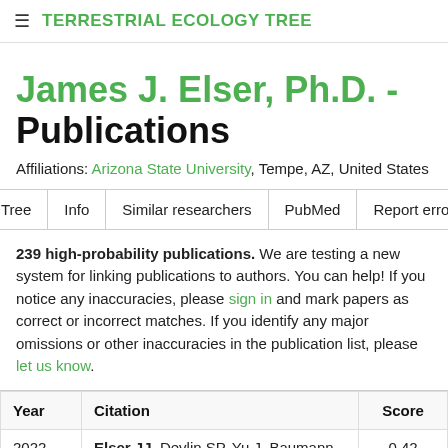≡ TERRESTRIAL ECOLOGY TREE
James J. Elser, Ph.D. - Publications
Affiliations: Arizona State University, Tempe, AZ, United States
Tree | Info | Similar researchers | PubMed | Report error
239 high-probability publications. We are testing a new system for linking publications to authors. You can help! If you notice any inaccuracies, please sign in and mark papers as correct or incorrect matches. If you identify any major omissions or other inaccuracies in the publication list, please let us know.
| Year | Citation | Score |
| --- | --- | --- |
| 2022 | Elser JJ, Devlin SP, Yu J, Baumann A, Church | 0.42 |